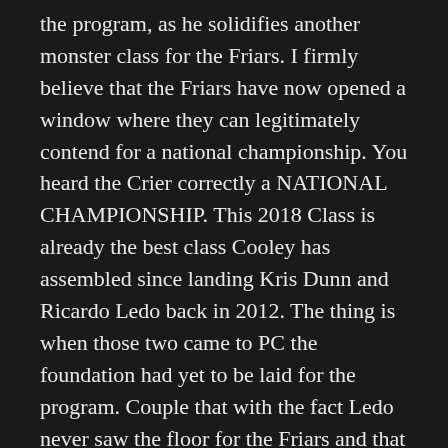the program, as he solidifies another monster class for the Friars. I firmly believe that the Friars have now opened a window where they can legitimately contend for a national championship. You heard the Crier correctly a NATIONAL CHAMPIONSHIP. This 2018 Class is already the best class Cooley has assembled since landing Kris Dunn and Ricardo Ledo back in 2012. The thing is when those two came to PC the foundation had yet to be laid for the program. Couple that with the fact Ledo never saw the floor for the Friars and that class ended up only taking PC so far. The culture that Ed Cooley intended on creating when taking the PC job is now here and the fact this highly regarded class gets to come in with the culture in place can take the program to that next level. While this current team has a lot of seniors it also features a lot of young